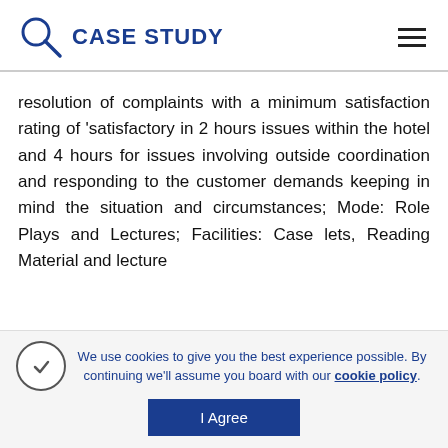CASE STUDY
resolution of complaints with a minimum satisfaction rating of 'satisfactory in 2 hours issues within the hotel and 4 hours for issues involving outside coordination and responding to the customer demands keeping in mind the situation and circumstances; Mode: Role Plays and Lectures; Facilities: Case lets, Reading Material and lecture
We use cookies to give you the best experience possible. By continuing we'll assume you board with our cookie policy.
I Agree